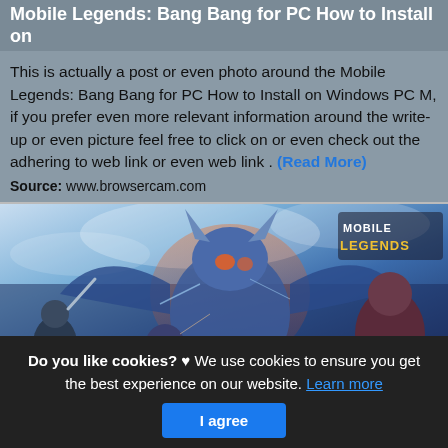Mobile Legends: Bang Bang for PC How to Install on
This is actually a post or even photo around the Mobile Legends: Bang Bang for PC How to Install on Windows PC M, if you prefer even more relevant information around the write-up or even picture feel free to click on or even check out the adhering to web link or even web link . (Read More)
Source: www.browsercam.com
[Figure (illustration): Mobile Legends: Bang Bang game artwork showing fantasy characters in battle, with the Mobile Legends logo in the top right corner]
Do you like cookies? ♥ We use cookies to ensure you get the best experience on our website. Learn more
I agree